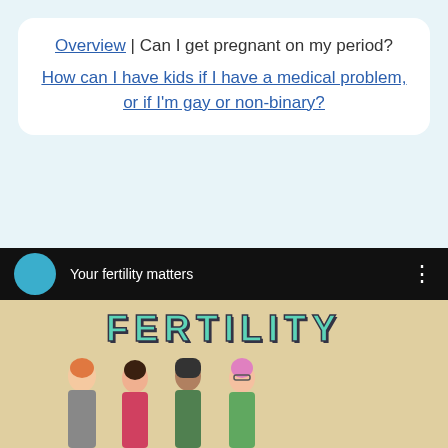Overview | Can I get pregnant on my period? How can I have kids if I have a medical problem, or if I'm gay or non-binary?
[Figure (screenshot): Video thumbnail showing 'Your fertility matters' title bar with a teal circle avatar icon, three-dot menu, and below it the word FERTILITY in large teal block letters with an illustration of four young people of diverse appearances on a beige background.]